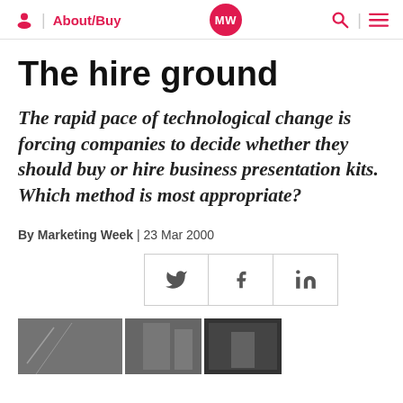About/Buy | MW | (search) | (menu)
The hire ground
The rapid pace of technological change is forcing companies to decide whether they should buy or hire business presentation kits. Which method is most appropriate?
By Marketing Week | 23 Mar 2000
[Figure (other): Social share buttons: Twitter, Facebook, LinkedIn]
[Figure (photo): Photo strip showing architectural/building images in black and white]